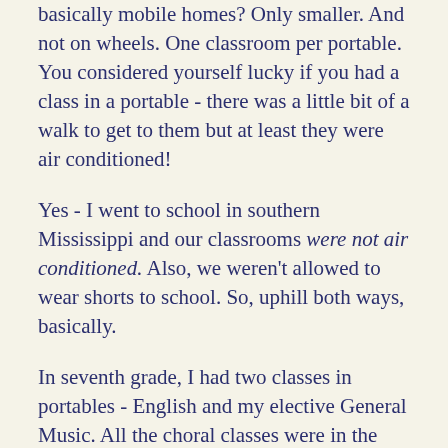basically mobile homes? Only smaller. And not on wheels. One classroom per portable. You considered yourself lucky if you had a class in a portable - there was a little bit of a walk to get to them but at least they were air conditioned!
Yes - I went to school in southern Mississippi and our classrooms were not air conditioned. Also, we weren't allowed to wear shorts to school. So, uphill both ways, basically.
In seventh grade, I had two classes in portables - English and my elective General Music. All the choral classes were in the portables I guess so the music wouldn't interrupt other classes.